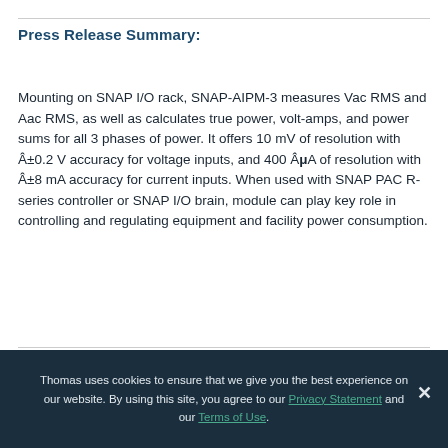Press Release Summary:
Mounting on SNAP I/O rack, SNAP-AIPM-3 measures Vac RMS and Aac RMS, as well as calculates true power, volt-amps, and power sums for all 3 phases of power. It offers 10 mV of resolution with ±0.2 V accuracy for voltage inputs, and 400 µA of resolution with ±8 mA accuracy for current inputs. When used with SNAP PAC R-series controller or SNAP I/O brain, module can play key role in controlling and regulating equipment and facility power consumption.
Thomas uses cookies to ensure that we give you the best experience on our website. By using this site, you agree to our Privacy Statement and our Terms of Use.